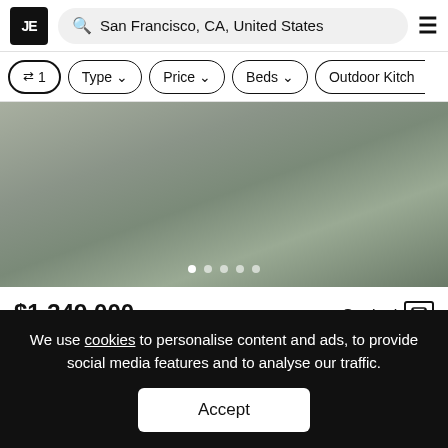JE | San Francisco, CA, United States
⇄ 1
Type ∨
Price ∨
Beds ∨
Outdoor Kitch
[Figure (photo): Property listing photo — muted grey-green landscape image with pagination dots overlay]
$1,349,000
Contact ✉
2 Beds · 2 Baths · 1001.04 Ft²
House in San Francisco, California, United States
We use cookies to personalise content and ads, to provide social media features and to analyse our traffic.
Accept